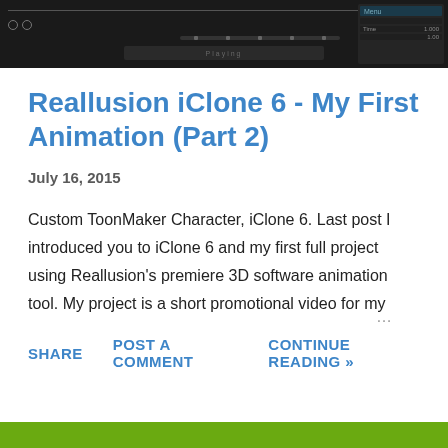[Figure (screenshot): Screenshot of a dark-themed video/animation software interface (iClone 6) showing timeline and controls]
Reallusion iClone 6 - My First Animation (Part 2)
July 16, 2015
Custom ToonMaker Character, iClone 6. Last post I introduced you to iClone 6 and my first full project using Reallusion's premiere 3D software animation tool. My project is a short promotional video for my …
SHARE   POST A COMMENT   CONTINUE READING »